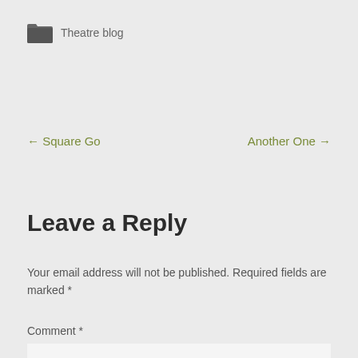Theatre blog
← Square Go
Another One →
Leave a Reply
Your email address will not be published. Required fields are marked *
Comment *